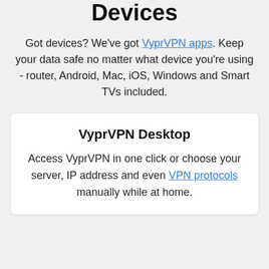Devices
Got devices? We've got VyprVPN apps. Keep your data safe no matter what device you're using - router, Android, Mac, iOS, Windows and Smart TVs included.
VyprVPN Desktop
Access VyprVPN in one click or choose your server, IP address and even VPN protocols manually while at home.